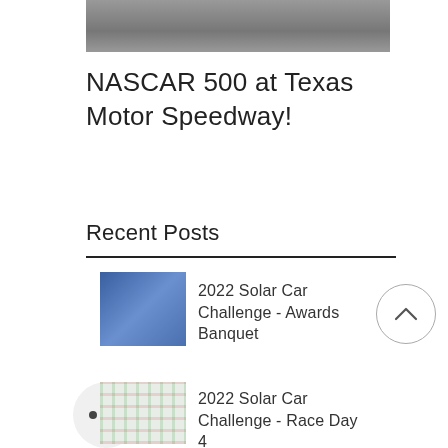[Figure (photo): Partial view of a vehicle/solar car frame on pavement, cropped at top of page]
NASCAR 500 at Texas Motor Speedway!
Recent Posts
[Figure (photo): Thumbnail photo of a group of people in blue shirts standing together (team photo) - 2022 Solar Car Challenge Awards Banquet]
2022 Solar Car Challenge - Awards Banquet
[Figure (photo): Thumbnail photo showing a grid/checkered pattern - 2022 Solar Car Challenge Race Day 4]
2022 Solar Car Challenge - Race Day 4